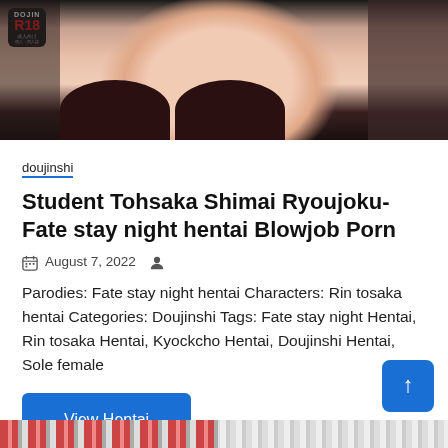[Figure (photo): Top portion of an anime/manga doujinshi cover with an R18 badge in the top-left corner against a dark and skin-toned background]
doujinshi
Student Tohsaka Shimai Ryoujoku- Fate stay night hentai Blowjob Porn
August 7, 2022
Parodies: Fate stay night hentai Characters: Rin tosaka hentai Categories: Doujinshi Tags: Fate stay night Hentai, Rin tosaka Hentai, Kyockcho Hentai, Doujinshi Hentai, Sole female
View Hentai
[Figure (photo): Bottom strip showing colorful repeating pattern from another doujinshi cover]